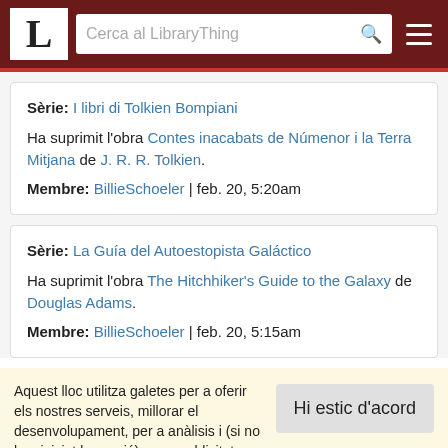LibraryThing - Cerca al LibraryThing
Sèrie: I libri di Tolkien Bompiani
Ha suprimit l'obra Contes inacabats de Númenor i la Terra Mitjana de J. R. R. Tolkien.
Membre: BillieSchoeler | feb. 20, 5:20am
Sèrie: La Guía del Autoestopista Galáctico
Ha suprimit l'obra The Hitchhiker's Guide to the Galaxy de Douglas Adams.
Membre: BillieSchoeler | feb. 20, 5:15am
Aquest lloc utilitza galetes per a oferir els nostres serveis, millorar el desenvolupament, per a anàlisis i (si no has iniciat la sessió) per a publicitat. Utilitzant LibraryThing acceptes que has llegit i entès els nostres Termes de servei i política de privacitat. L'ús que facis del lloc i dels seus serveis està subjecte a aquestes polítiques i termes.